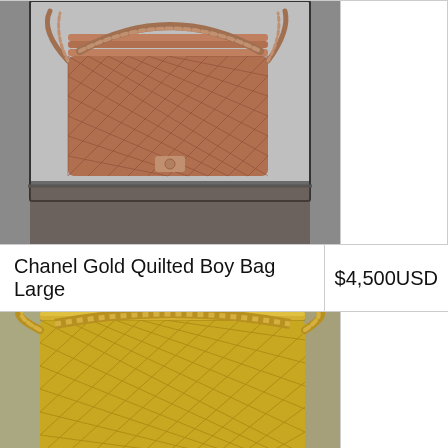[Figure (photo): Chanel Gold Quilted Boy Bag Large displayed in a glass showcase, rose gold/bronze color with chain strap]
Chanel Gold Quilted Boy Bag Large
$4,500USD
[Figure (photo): Chanel Gold Quilted Boy Bag Large, gold color with chain strap, close-up side view]